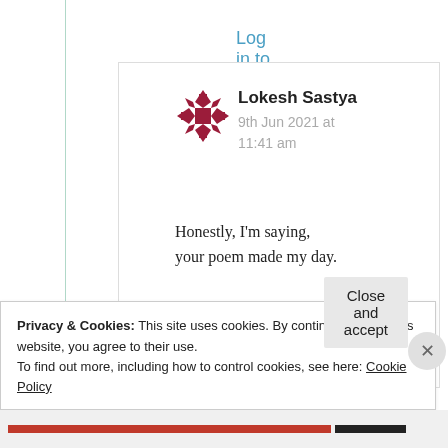Log in to Reply
[Figure (illustration): Red geometric quilt-pattern avatar icon for user Lokesh Sastya]
Lokesh Sastya
9th Jun 2021 at 11:41 am
Honestly, I’m saying,
your poem made my day.
[Figure (illustration): Yellow thumbs up emoji]
Privacy & Cookies: This site uses cookies. By continuing to use this website, you agree to their use.
To find out more, including how to control cookies, see here: Cookie Policy
Close and accept